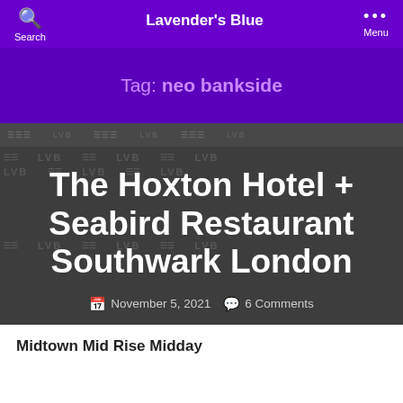Search   Lavender's Blue   Menu
Tag: neo bankside
[Figure (screenshot): Dark grey background with repeating 'LVB' and building watermark pattern]
The Hoxton Hotel + Seabird Restaurant Southwark London
November 5, 2021   6 Comments
Midtown Mid Rise Midday